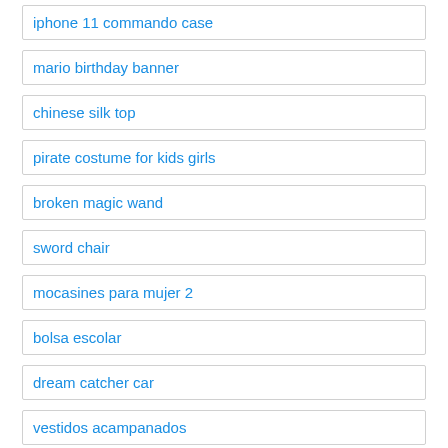iphone 11 commando case
mario birthday banner
chinese silk top
pirate costume for kids girls
broken magic wand
sword chair
mocasines para mujer 2
bolsa escolar
dream catcher car
vestidos acampanados
half sleeve blazer
box braids blue and black